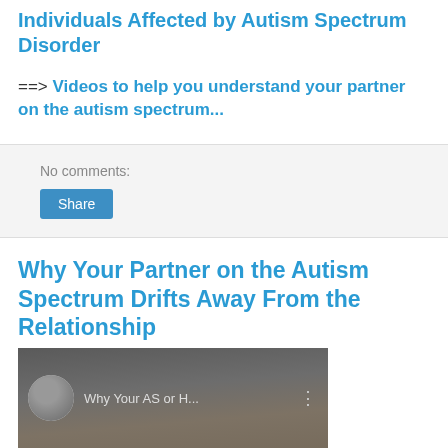Individuals Affected by Autism Spectrum Disorder
==> Videos to help you understand your partner on the autism spectrum...
No comments:
Share
Why Your Partner on the Autism Spectrum Drifts Away From the Relationship
[Figure (screenshot): Video thumbnail showing 'Why Your AS or H...' with a circular avatar photo and a three-dot menu icon, overlaid on a dark background with blurred face content]